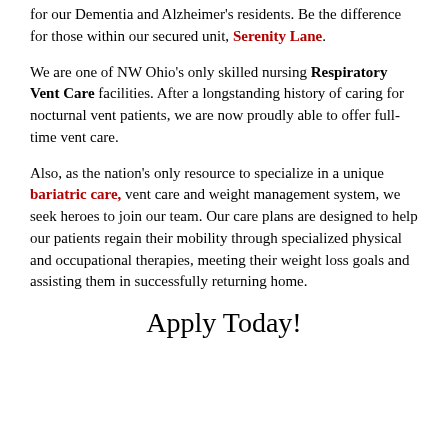for our Dementia and Alzheimer's residents.  Be the difference for those within our secured unit, Serenity Lane.
We are one of NW Ohio's only skilled nursing Respiratory Vent Care facilities.  After a longstanding history of caring for nocturnal vent patients, we are now proudly able to offer full-time vent care.
Also, as the nation's only resource to specialize in a unique bariatric care, vent care and weight management system, we seek heroes to join our team. Our care plans are designed to help our patients regain their mobility through specialized physical and occupational therapies, meeting their weight loss goals and assisting them in successfully returning home.
Apply Today!